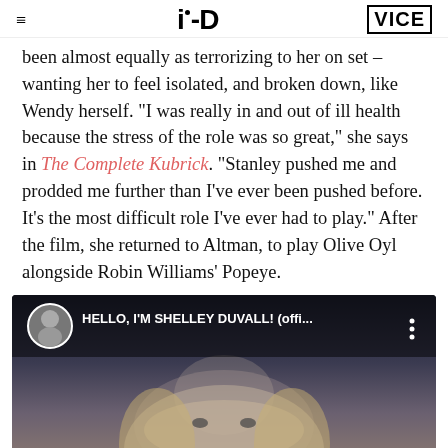i-D | VICE
been almost equally as terrorizing to her on set – wanting her to feel isolated, and broken down, like Wendy herself. "I was really in and out of ill health because the stress of the role was so great," she says in The Complete Kubrick. "Stanley pushed me and prodded me further than I've ever been pushed before. It's the most difficult role I've ever had to play." After the film, she returned to Altman, to play Olive Oyl alongside Robin Williams' Popeye.
[Figure (screenshot): YouTube video thumbnail showing 'HELLO, I'M SHELLEY DUVALL! (offi...' with a circular avatar of a person and a three-dot menu icon, over a dark image of a blonde woman's face.]